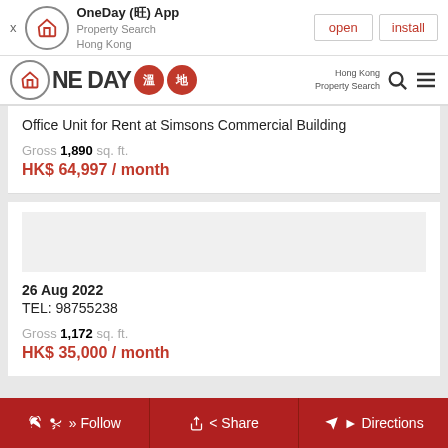OneDay (旺) App Property Search Hong Kong — open | install
[Figure (logo): OneDay property search Hong Kong logo with red house icon and Chinese characters 溫地]
Office Unit for Rent at Simsons Commercial Building
Gross 1,890 sq. ft.
HK$ 64,997 / month
26 Aug 2022
TEL: 98755238
Gross 1,172 sq. ft.
HK$ 35,000 / month
Follow | Share | Directions